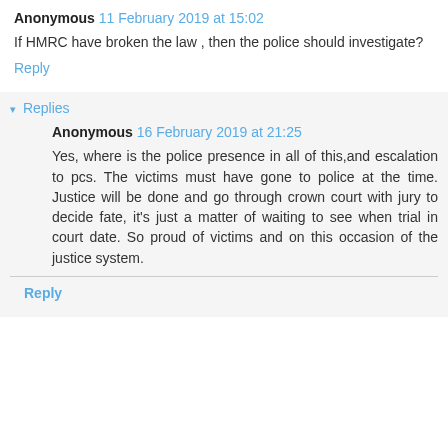Anonymous 11 February 2019 at 15:02
If HMRC have broken the law , then the police should investigate?
Reply
▾ Replies
Anonymous 16 February 2019 at 21:25
Yes, where is the police presence in all of this,and escalation to pcs. The victims must have gone to police at the time. Justice will be done and go through crown court with jury to decide fate, it's just a matter of waiting to see when trial in court date. So proud of victims and on this occasion of the justice system.
Reply